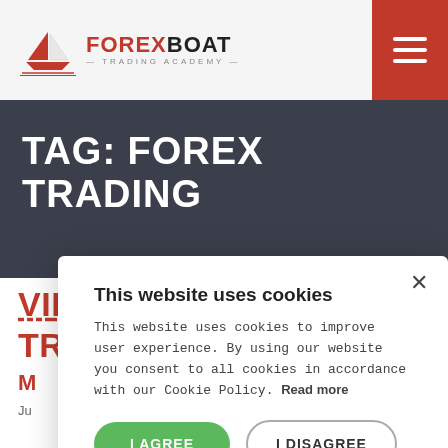FOREXBOAT TRADING ACADEMY
TAG: FOREX TRADING
VIEW FOREX TRADING...
...TRADERS
M...
Ju...
This website uses cookies

This website uses cookies to improve user experience. By using our website you consent to all cookies in accordance with our Cookie Policy. Read more
I AGREE
I DISAGREE